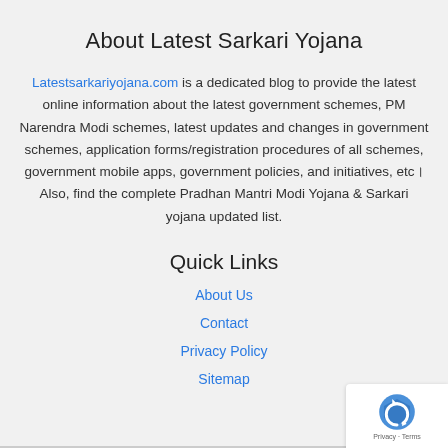About Latest Sarkari Yojana
Latestsarkariyojana.com is a dedicated blog to provide the latest online information about the latest government schemes, PM Narendra Modi schemes, latest updates and changes in government schemes, application forms/registration procedures of all schemes, government mobile apps, government policies, and initiatives, etc। Also, find the complete Pradhan Mantri Modi Yojana & Sarkari yojana updated list.
Quick Links
About Us
Contact
Privacy Policy
Sitemap